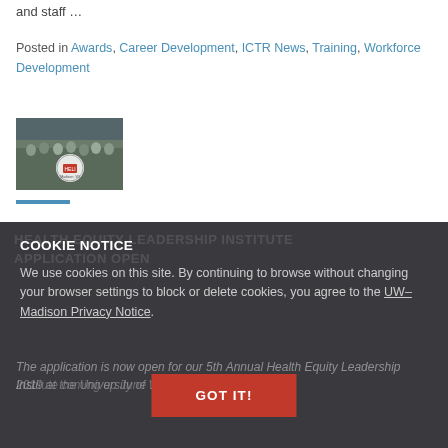and staff …
Posted in Awards, Career Development, ICTR News, Training, Workforce Development
[Figure (photo): Group photo of people standing outside a building, with a circular event badge visible]
COOKIE NOTICE
We use cookies on this site. By continuing to browse without changing your browser settings to block or delete cookies, you agree to the UW–Madison Privacy Notice.
GOT IT!
The application is now open for our 5th Annual Health Equity Leadership Institute (HELI) coming up June 17-21, 2019 at the University of Wisconsin–Madison. Wed...